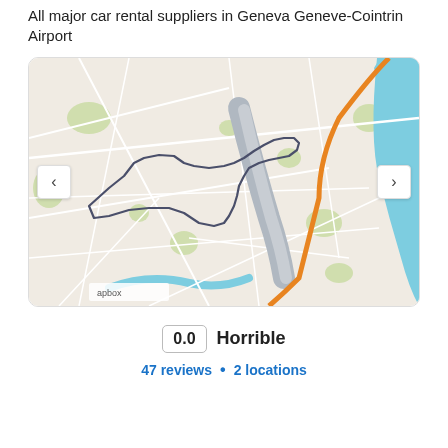All major car rental suppliers in Geneva Geneve-Cointrin Airport
[Figure (map): Street map of Geneva Geneve-Cointrin Airport area showing road network, airport runway in gray, orange highway route, blue water body (Lake Geneva) on the right, green park areas, and a dark outlined polygon marking the airport boundary. Navigation arrows on left and right. Mapbox attribution at bottom left.]
0.0   Horrible
47 reviews • 2 locations